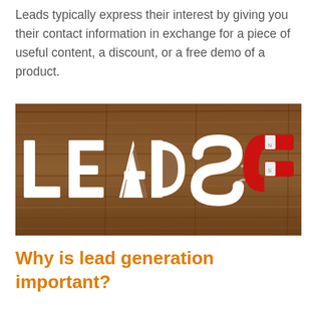Leads typically express their interest by giving you their contact information in exchange for a piece of useful content, a discount, or a free demo of a product.
[Figure (photo): Photo of the word LEADS in white cut-out letters on a wooden background, with a red horseshoe magnet on the right side attracting metal filings toward it.]
Why is lead generation important?